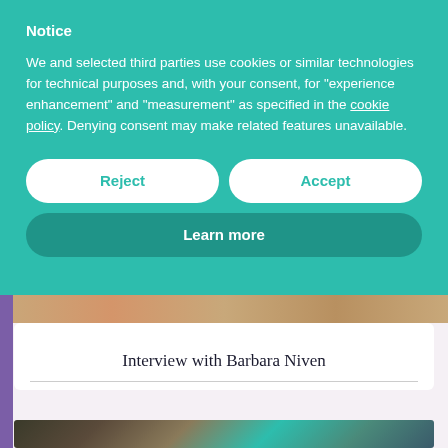Notice
We and selected third parties use cookies or similar technologies for technical purposes and, with your consent, for "experience enhancement" and "measurement" as specified in the cookie policy. Denying consent may make related features unavailable.
Reject
Accept
Learn more
Interview with Barbara Niven
[Figure (photo): Partial view of a photo strip showing people, partially obscured by cookie notice overlay]